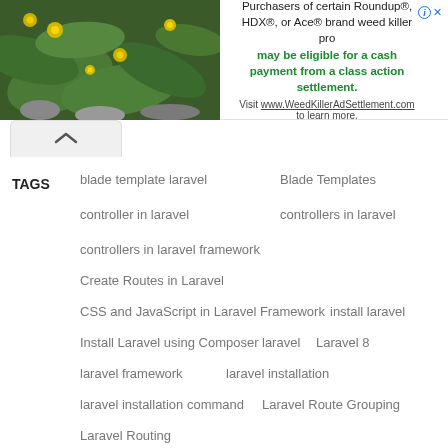[Figure (infographic): Advertisement banner: image of yellow flowers on left, text on right about Roundup/HDX/Ace weed killer class action settlement, directing to www.WeedKillerAdSettlement.com]
blade template laravel
Blade Templates
controller in laravel
controllers in laravel
controllers in laravel framework
Create Routes in Laravel
CSS and JavaScript in Laravel Framework
install laravel
Install Laravel using Composer
laravel
Laravel 8
laravel framework
laravel installation
laravel installation command
Laravel Route Grouping
Laravel Routing
Pass Data from Controller to View in Laravel
Pass Data from Controller to View in Laravel framework
Pass Object from Controller to View in Laravel
Pass Objects List from Controller to View in Laravel